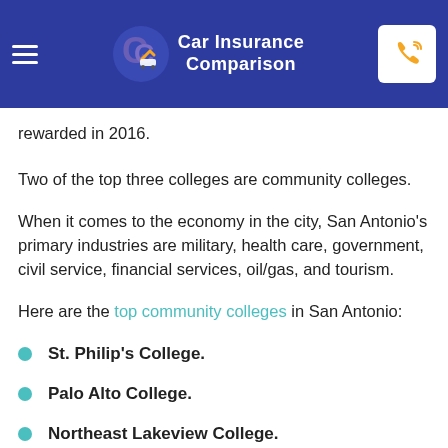Car Insurance Comparison
rewarded in 2016.
Two of the top three colleges are community colleges.
When it comes to the economy in the city, San Antonio's primary industries are military, health care, government, civil service, financial services, oil/gas, and tourism.
Here are the top community colleges in San Antonio:
St. Philip's College.
Palo Alto College.
Northeast Lakeview College.